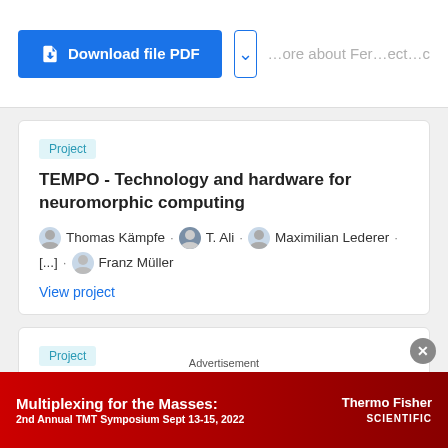[Figure (screenshot): Download file PDF button (blue) and dropdown arrow button]
Project
TEMPO - Technology and hardware for neuromorphic computing
Thomas Kämpfe · T. Ali · Maximilian Lederer · [...] · Franz Müller
View project
Project
Charged Domain Walls in Ferroelectric Single Crystals
Thomas Kämpfe · Lukas M Eng · Alexander Haußmann · [...] · Theo Waike
[Figure (screenshot): Advertisement banner: Multiplexing for the Masses: 2nd Annual TMT Symposium Sept 13-15, 2022 – ThermoFisher Scientific]